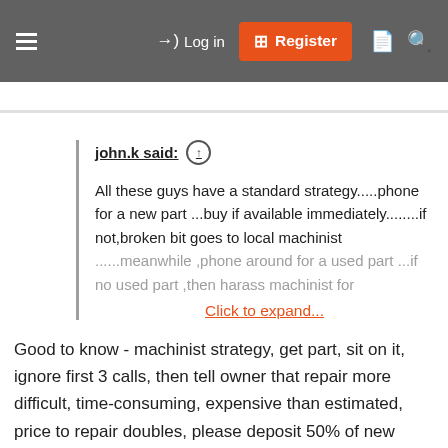Log in  Register
john.k said: ↑
All these guys have a standard strategy.....phone for a new part ...buy if available immediately........if not,broken bit goes to local machinist ......meanwhile ,phone around for a used part ...if no used part ,then harass machinist for
Click to expand...
Good to know - machinist strategy, get part, sit on it, ignore first 3 calls, then tell owner that repair more difficult, time-consuming, expensive than estimated, price to repair doubles, please deposit 50% of new estimate into account ASAP so work can commence. Balance in